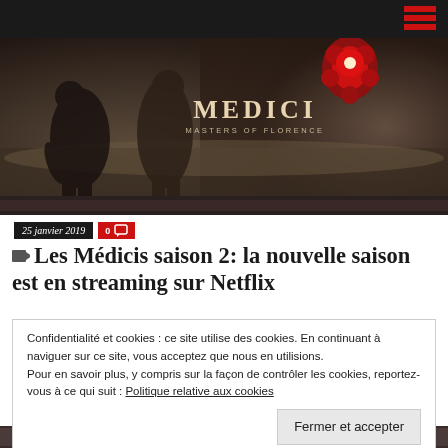[Figure (photo): Hero image for Medici: Masters of Florence TV show. Dark atmospheric promotional image showing figures in period costume. Title 'MEDICI MASTERS OF FLORENCE' overlaid on right side with red floral/heraldic decoration.]
25 janvier 2019  0
Les Médicis saison 2: la nouvelle saison est en streaming sur Netflix
Confidentialité et cookies : ce site utilise des cookies. En continuant à naviguer sur ce site, vous acceptez que nous en utilisions. Pour en savoir plus, y compris sur la façon de contrôler les cookies, reportez-vous à ce qui suit : Politique relative aux cookies
Fermer et accepter
[Figure (photo): Bottom strip showing a group scene from the Medici TV series with period-costumed actors.]